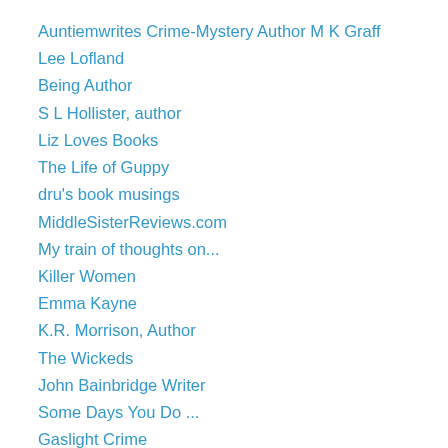Auntiemwrites Crime-Mystery Author M K Graff
Lee Lofland
Being Author
S L Hollister, author
Liz Loves Books
The Life of Guppy
dru's book musings
MiddleSisterReviews.com
My train of thoughts on...
Killer Women
Emma Kayne
K.R. Morrison, Author
The Wickeds
John Bainbridge Writer
Some Days You Do ...
Gaslight Crime
Crimezine
Mellotone70Up
A thrilling Murder-Mystery...